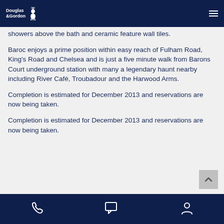Douglas & Gordon
showers above the bath and ceramic feature wall tiles.
Baroc enjoys a prime position within easy reach of Fulham Road, King's Road and Chelsea and is just a five minute walk from Barons Court underground station with many a legendary haunt nearby including River Café, Troubadour and the Harwood Arms.
Completion is estimated for December 2013 and reservations are now being taken.
Completion is estimated for December 2013 and reservations are now being taken.
Phone | Chat | Account